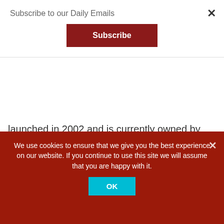Subscribe to our Daily Emails
Subscribe
launched in 2002 and is currently owned by Prokom Investments. It recently had [...]
FILED UNDER: CENTRAL & EAST EUROPE, FINANCE, NEWSLINE, RADIO
EDITED: 9 JUNE 2007 22:21
We use cookies to ensure that we give you the best experience on our website. If you continue to use this site we will assume that you are happy with it.
OK